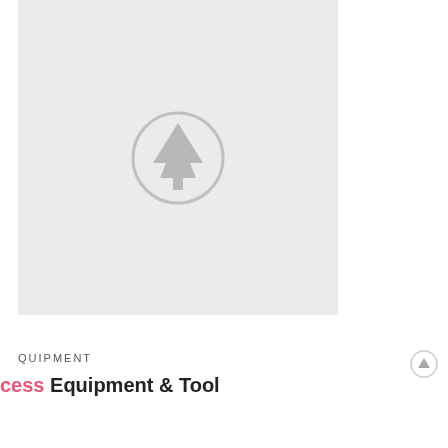[Figure (illustration): A large light gray placeholder image box with a centered circle icon containing a pine tree / upward-pointing triangle symbol, all in muted gray tones.]
QUIPMENT
cess Equipment & Tool